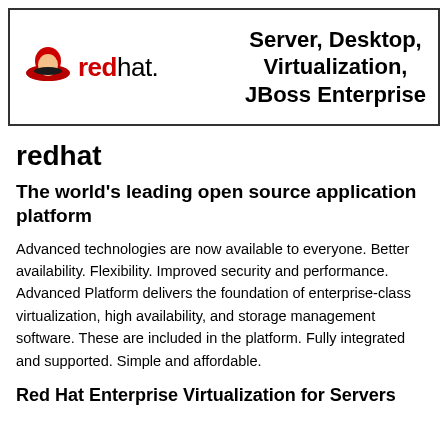[Figure (logo): Red Hat logo with red fedora hat icon and 'redhat.' wordmark in red and black, alongside bold header text 'Server, Desktop, Virtualization, JBoss Enterprise' in a bordered box]
redhat
The world's leading open source application platform
Advanced technologies are now available to everyone. Better availability. Flexibility. Improved security and performance. Advanced Platform delivers the foundation of enterprise-class virtualization, high availability, and storage management software. These are included in the platform. Fully integrated and supported. Simple and affordable.
Red Hat Enterprise Virtualization for Servers